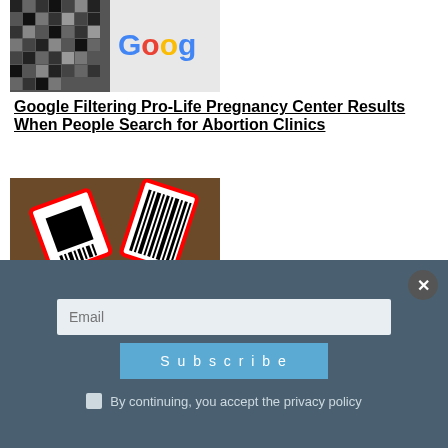[Figure (photo): Google logo visible in top right, dark/mosaic pattern on left side]
Google Filtering Pro-Life Pregnancy Center Results When People Search for Abortion Clinics
[Figure (photo): Man in glasses with two redacted barcode sticker overlays on a brown background]
Check Out DOJ's Trump Raid Redacted Affidavit for Yourself
Email
Subscribe
By continuing, you accept the privacy policy